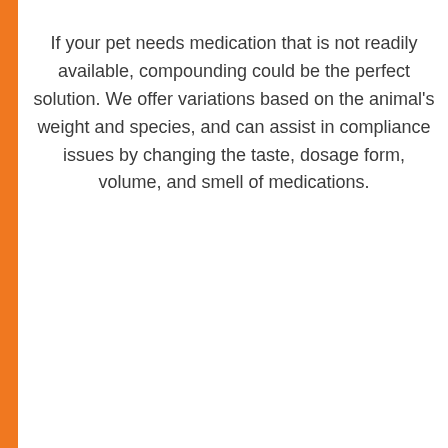If your pet needs medication that is not readily available, compounding could be the perfect solution. We offer variations based on the animal's weight and species, and can assist in compliance issues by changing the taste, dosage form, volume, and smell of medications.